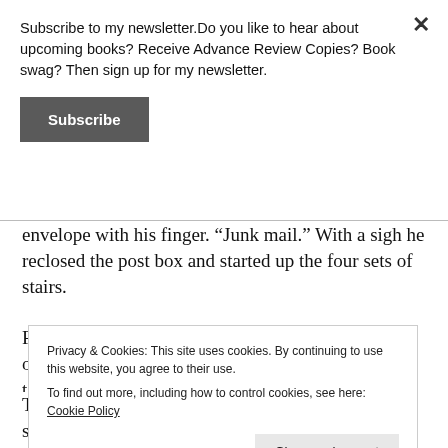Subscribe to my newsletter.Do you like to hear about upcoming books? Receive Advance Review Copies? Book swag? Then sign up for my newsletter.
Subscribe
envelope with his finger. “Junk mail.” With a sigh he reclosed the post box and started up the four sets of stairs.
Reaching the Robin floor Bernard was slightly out of breath. Three years gone and he still wasn’t used to all these stairs, he t... d... t... u...
Privacy & Cookies: This site uses cookies. By continuing to use this website, you agree to their use.
To find out more, including how to control cookies, see here: Cookie Policy
Close and accept
The door swung open with a nasty squeak and the smell of